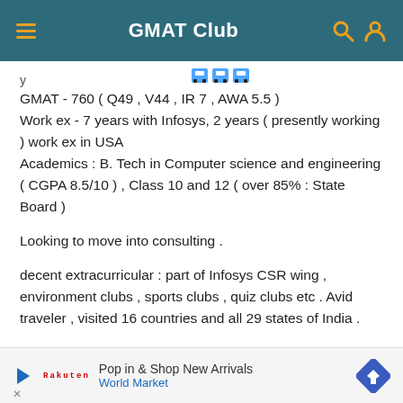GMAT Club
GMAT - 760 ( Q49 , V44 , IR 7 , AWA 5.5 )
Work ex - 7 years with Infosys, 2 years ( presently working ) work ex in USA
Academics : B. Tech in Computer science and engineering ( CGPA 8.5/10 ) , Class 10 and 12 ( over 85% : State Board )
Looking to move into consulting .
decent extracurricular : part of Infosys CSR wing , environment clubs , sports clubs , quiz clubs etc . Avid traveler , visited 16 countries and all 29 states of India .
Chances at ISB ??? Please let me know ??? should i apply ?? I
Pop in & Shop New Arrivals
World Market